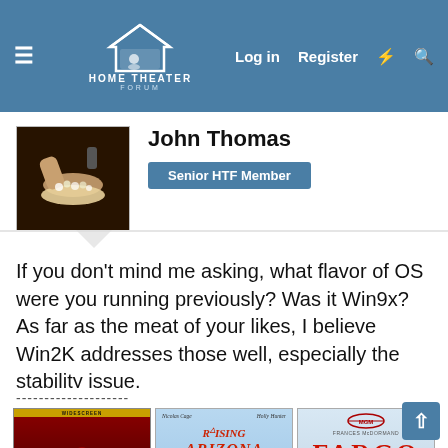HOME THEATER FORUM — Log in  Register
John Thomas
Senior HTF Member
If you don't mind me asking, what flavor of OS were you running previously? Was it Win9x? As far as the meat of your likes, I believe Win2K addresses those well, especially the stability issue.
--------------------
[Figure (photo): Movie poster for Blood Simple]
[Figure (photo): Movie poster for Raising Arizona featuring Nicolas Cage and Holly Hunter]
[Figure (photo): Movie poster for Fargo featuring Frances McDormand]